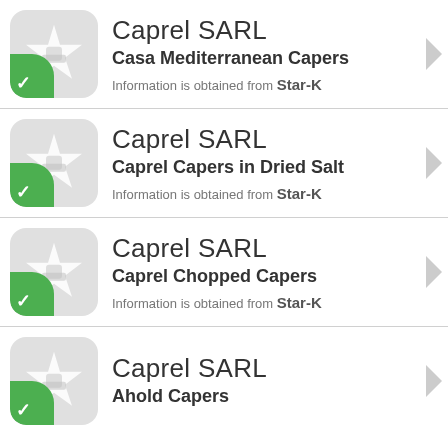Caprel SARL — Casa Mediterranean Capers — Information is obtained from Star-K
Caprel SARL — Caprel Capers in Dried Salt — Information is obtained from Star-K
Caprel SARL — Caprel Chopped Capers — Information is obtained from Star-K
Caprel SARL — Ahold Capers